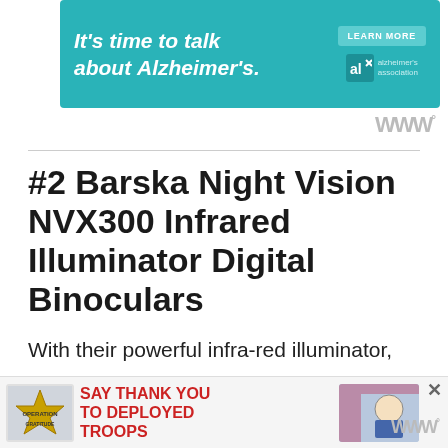[Figure (other): Teal advertisement banner: 'It's time to talk about Alzheimer's.' with LEARN MORE button and Alzheimer's Association logo]
[Figure (logo): W° logo icon in gray]
#2 Barska Night Vision NVX300 Infrared Illuminator Digital Binoculars
With their powerful infra-red illuminator, these digital binoculars provide sharp images on the darkest of nights. They also easy t...
[Figure (other): Operation Gratitude ad banner: 'SAY THANK YOU TO DEPLOYED TROOPS' with logo and illustrated soldier character]